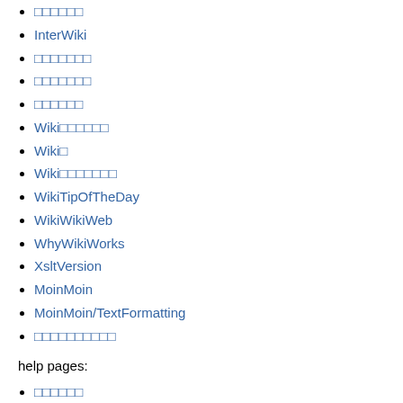□□□□□□
InterWiki
□□□□□□□
□□□□□□□
□□□□□□
Wiki□□□□□□
Wiki□
Wiki□□□□□□□
WikiTipOfTheDay
WikiWikiWeb
WhyWikiWorks
XsltVersion
MoinMoin
MoinMoin/TextFormatting
□□□□□□□□□□
help pages:
□□□□□□
HelpForAdministrators
HelpForBeginners